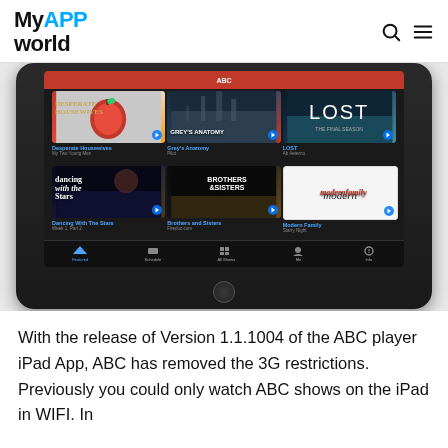MyAPP world
[Figure (screenshot): iPad tablet showing ABC player app with a grid of 6 TV show thumbnails: Desperate Housewives, Grey's Anatomy, LOST, Dancing With The Stars, Brothers and Sisters, Modern Family]
With the release of Version 1.1.1004 of the ABC player iPad App, ABC has removed the 3G restrictions. Previously you could only watch ABC shows on the iPad in WIFI. In